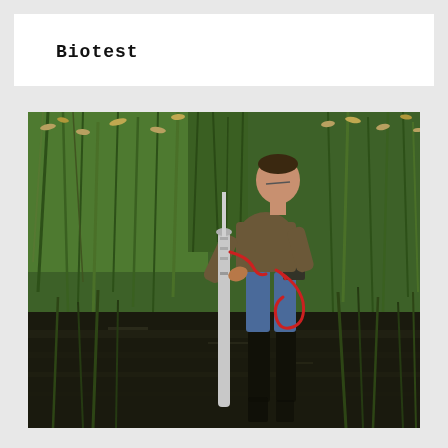Biotest
[Figure (photo): A person standing in a wetland or marshy area surrounded by tall green reeds and grasses, operating field equipment — a vertical cylindrical probe/sampler inserted into dark muddy water, with red cables/tubing connected to a handheld device at their hip. The person is wearing a brown long-sleeve shirt, jeans, and rubber boots.]